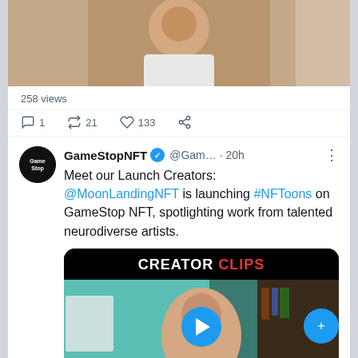[Figure (screenshot): Top portion of a Twitter/X mobile screenshot showing a video thumbnail of a man in a white shirt]
258 views
1 retweet 21 likes 133 share icon
GameStopNFT @Gam... · 20h
Meet our Launch Creators: @MoonLandingNFT is launching #NFToons on GameStop NFT, spotlighting work from talented neurodiverse artists.
[Figure (screenshot): Video thumbnail showing CREATOR CLIPS text with a woman presenter and play button, GameStop NFT branding, time 0:27]